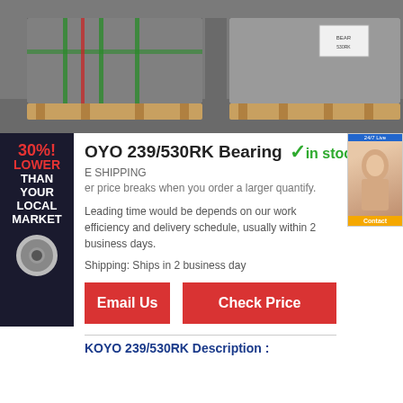[Figure (photo): Two pallets of wrapped/packaged bearings in a warehouse, one with green strapping and one with a white label tag]
KOYO 239/530RK Bearing  ✓in stock
FREE SHIPPING
Lower price breaks when you order a larger quantify.
Leading time would be depends on our work efficiency and delivery schedule, usually within 2 business days.
Shipping: Ships in 2 business day
Email Us
Check Price
KOYO 239/530RK Description :